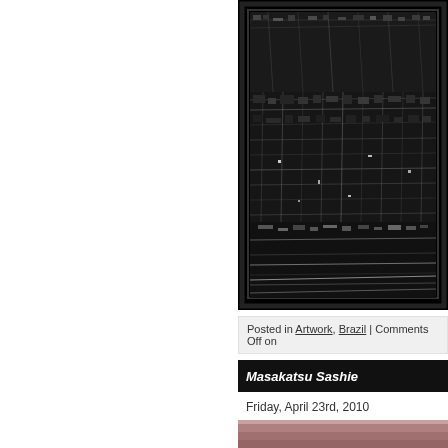[Figure (photo): Abstract dark digital artwork showing a complex grid-like cityscape or circuit board viewed from above, predominantly black with white/grey highlights, framed with a dark border]
Posted in Artwork, Brazil | Comments Off on
Masakatsu Sashie
Friday, April 23rd, 2010
[Figure (photo): Bottom portion of another artwork image, reddish-brown/mauve tones, partially visible]